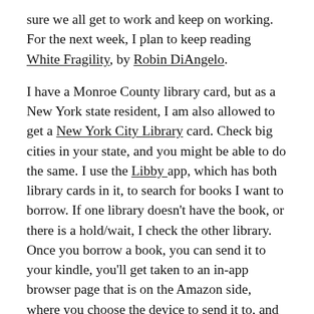sure we all get to work and keep on working. For the next week, I plan to keep reading White Fragility, by Robin DiAngelo.
I have a Monroe County library card, but as a New York state resident, I am also allowed to get a New York City Library card. Check big cities in your state, and you might be able to do the same. I use the Libby app, which has both library cards in it, to search for books I want to borrow. If one library doesn't have the book, or there is a hold/wait, I check the other library. Once you borrow a book, you can send it to your kindle, you'll get taken to an in-app browser page that is on the Amazon side, where you choose the device to send it to, and bam. All set. You can get the kindle app, even if you don't have Amazon Prime, and you can put it on your phone, and tablets, even if they aren't Amazon phones.